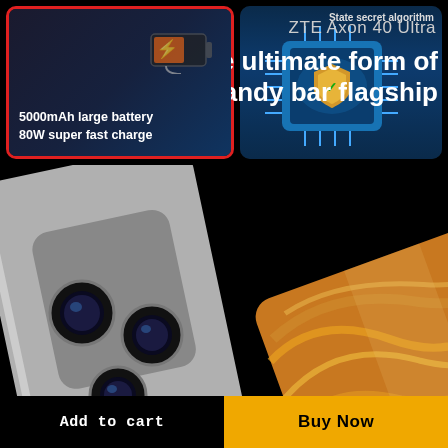[Figure (infographic): Product feature panel showing 5000mAh battery and 80W fast charge on left (with red border), and state secret algorithm security chip on right, dark backgrounds]
5000mAh large battery
80W super fast charge
State secret algorithm
[Figure (photo): ZTE Axon 40 Ultra smartphone shown from rear angle, silver/gray color, triple camera module, with a second phone showing amber/orange back panel]
ZTE Axon 40 Ultra
The ultimate form of candy bar flagship
Add to cart
Buy Now